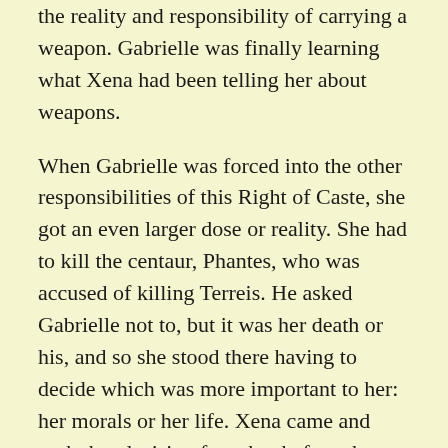the reality and responsibility of carrying a weapon. Gabrielle was finally learning what Xena had been telling her about weapons.
When Gabrielle was forced into the other responsibilities of this Right of Caste, she got an even larger dose or reality. She had to kill the centaur, Phantes, who was accused of killing Terreis. He asked Gabrielle not to, but it was her death or his, and so she stood there having to decide which was more important to her: her morals or her life. Xena came and took that decision from her before she finally had to decide, but now she had started thinking about and forming her fighting morals.
Another interesting point was when Melosa ordered Phantes to be killed, it was...